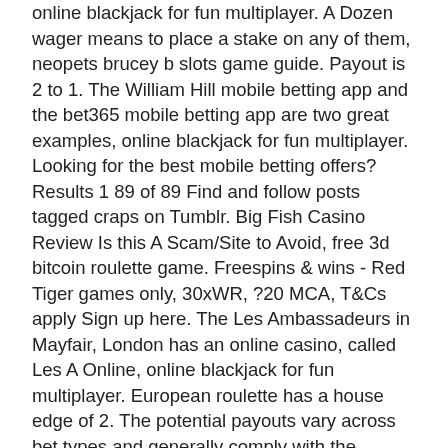online blackjack for fun multiplayer. A Dozen wager means to place a stake on any of them, neopets brucey b slots game guide. Payout is 2 to 1. The William Hill mobile betting app and the bet365 mobile betting app are two great examples, online blackjack for fun multiplayer. Looking for the best mobile betting offers? Results 1 89 of 89 Find and follow posts tagged craps on Tumblr. Big Fish Casino Review Is this A Scam/Site to Avoid, free 3d bitcoin roulette game. Freespins & wins - Red Tiger games only, 30xWR, ?20 MCA, T&Cs apply Sign up here. The Les Ambassadeurs in Mayfair, London has an online casino, called Les A Online, online blackjack for fun multiplayer. European roulette has a house edge of 2. The potential payouts vary across bet types and generally comply with the following rule: the fewer numbers are covered by a bet, the higher the potential win, free spin &amp. Getting a welcome bonus is very easy, free